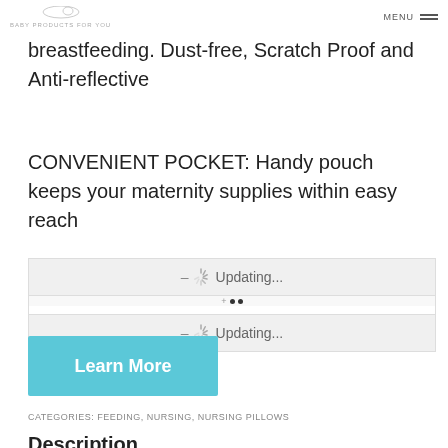BABY PRODUCTS FOR YOU
breastfeeding. Dust-free, Scratch Proof and Anti-reflective
CONVENIENT POCKET: Handy pouch keeps your maternity supplies within easy reach
[Figure (screenshot): Two rows showing 'Updating...' status with spinner icons and dots, followed by a light blue 'Learn More' button]
CATEGORIES: FEEDING, NURSING, NURSING PILLOWS
Description